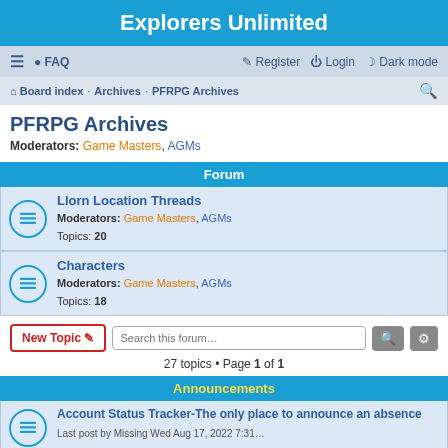Explorers Unlimited
≡  FAQ    Register  Login  Dark mode
Board index · Archives · PFRPG Archives
PFRPG Archives
Moderators: Game Masters, AGMs
Forum
Llorn Location Threads
Moderators: Game Masters, AGMs
Topics: 20
Characters
Moderators: Game Masters, AGMs
Topics: 18
New Topic  Search this forum…
27 topics • Page 1 of 1
Announcements
Account Status Tracker-The only place to announce an absence